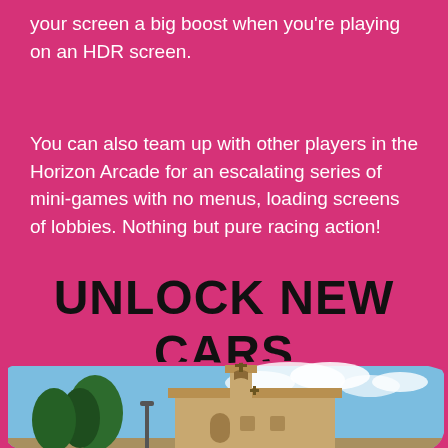your screen a big boost when you're playing on an HDR screen.
You can also team up with other players in the Horizon Arcade for an escalating series of mini-games with no menus, loading screens of lobbies. Nothing but pure racing action!
UNLOCK NEW CARS
[Figure (photo): Outdoor photograph of a Spanish-style church or chapel with a bell tower, cross on top, beige/tan walls, surrounded by pine trees, with a partly cloudy blue sky in the background. The image has a rough brush-stroke style border.]